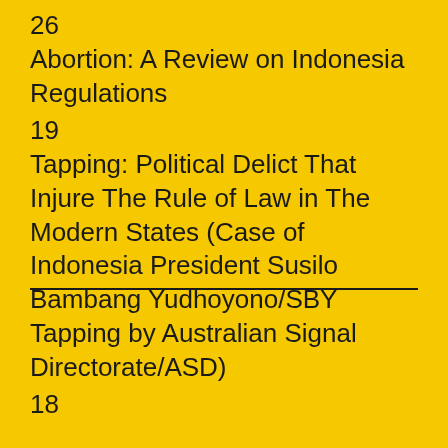26
Abortion: A Review on Indonesia Regulations
19
Tapping: Political Delict That Injure The Rule of Law in The Modern States (Case of Indonesia President Susilo Bambang Yudhoyono/SBY Tapping by Australian Signal Directorate/ASD)
18